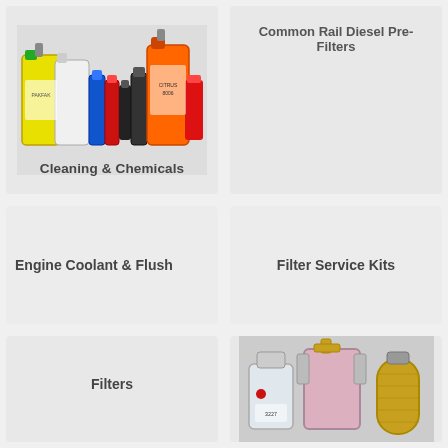[Figure (photo): Collection of cleaning products and chemicals including yellow jugs, spray bottles, and orange containers]
Cleaning & Chemicals
Common Rail Diesel Pre-Filters
Engine Coolant & Flush
Filter Service Kits
Filters
[Figure (photo): Fuel filter service kit components including filter housings and a cylindrical filter element]